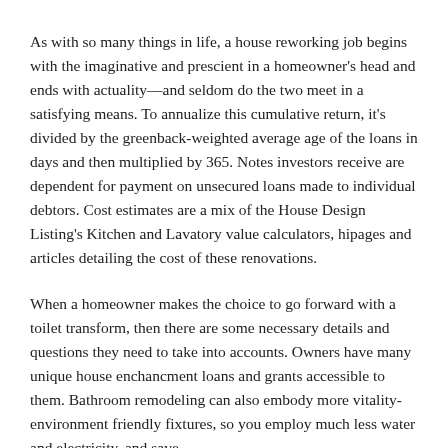As with so many things in life, a house reworking job begins with the imaginative and prescient in a homeowner's head and ends with actuality—and seldom do the two meet in a satisfying means. To annualize this cumulative return, it's divided by the greenback-weighted average age of the loans in days and then multiplied by 365. Notes investors receive are dependent for payment on unsecured loans made to individual debtors. Cost estimates are a mix of the House Design Listing's Kitchen and Lavatory value calculators, hipages and articles detailing the cost of these renovations.
When a homeowner makes the choice to go forward with a toilet transform, then there are some necessary details and questions they need to take into accounts. Owners have many unique house enchancment loans and grants accessible to them. Bathroom remodeling can also embody more vitality-environment friendly fixtures, so you employ much less water and electricity, and save